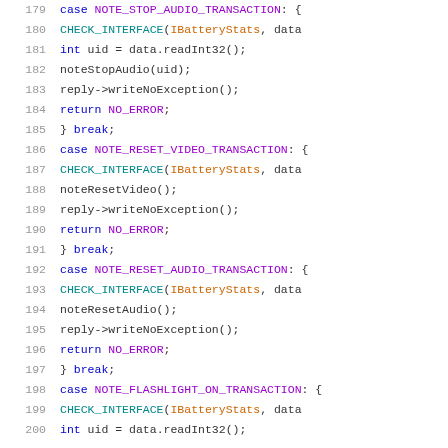[Figure (screenshot): Source code snippet in C++ showing switch-case statements for NOTE_STOP_AUDIO_TRANSACTION, NOTE_RESET_VIDEO_TRANSACTION, NOTE_RESET_AUDIO_TRANSACTION, and NOTE_FLASHLIGHT_ON_TRANSACTION, lines 179-200]